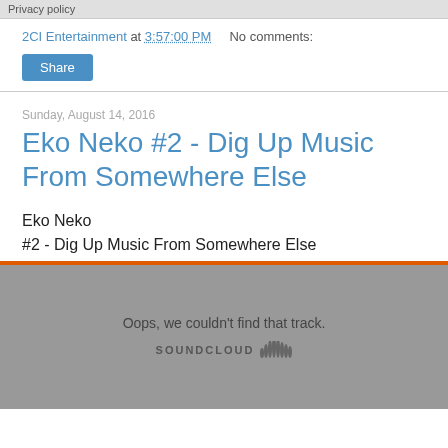Privacy policy
2CI Entertainment at 3:57:00 PM   No comments:
Share
Sunday, August 14, 2016
Eko Neko #2 - Dig Up Music From Somewhere Else
Eko Neko
#2 - Dig Up Music From Somewhere Else
[Figure (screenshot): SoundCloud embedded player showing error: 'Oops, we couldn't find that track.' with SoundCloud logo on grey background with orange top bar]